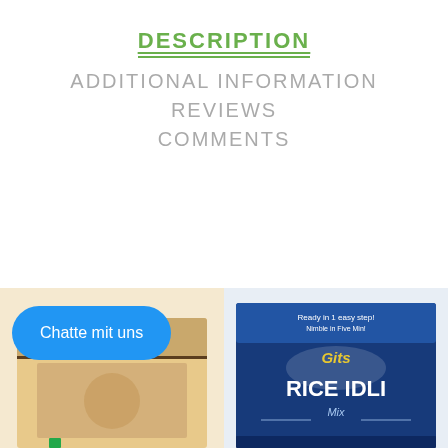DESCRIPTION
ADDITIONAL INFORMATION
REVIEWS
COMMENTS
[Figure (other): Scroll to top button — green bordered square with double up-arrow chevron icon]
— Related Product —
[Figure (photo): Product image on the left with a blue chat bubble overlay reading 'Chatte mit uns']
[Figure (photo): Gits Rice Idli Mix product box on the right]